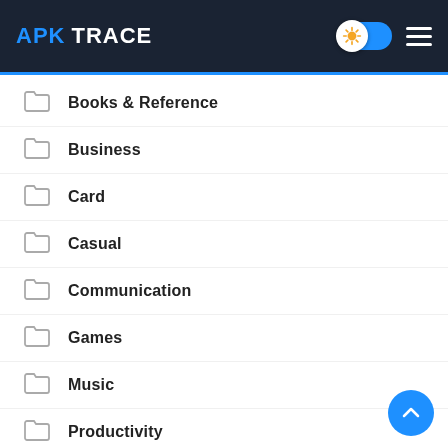APK TRACE
Books & Reference
Business
Card
Casual
Communication
Games
Music
Productivity
Racing
Role Playing
Simulation